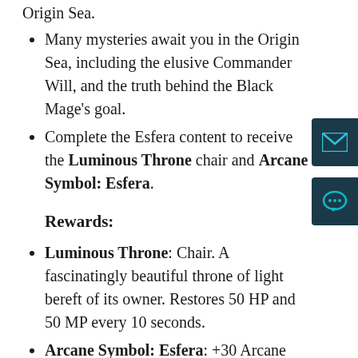Origin Sea.
Many mysteries await you in the Origin Sea, including the elusive Commander Will, and the truth behind the Black Mage's goal.
Complete the Esfera content to receive the Luminous Throne chair and Arcane Symbol: Esfera.
Rewards:
Luminous Throne: Chair. A fascinatingly beautiful throne of light bereft of its owner. Restores 50 HP and 50 MP every 10 seconds.
Arcane Symbol: Esfera: +30 Arcane Power, +300 to the class's main stat